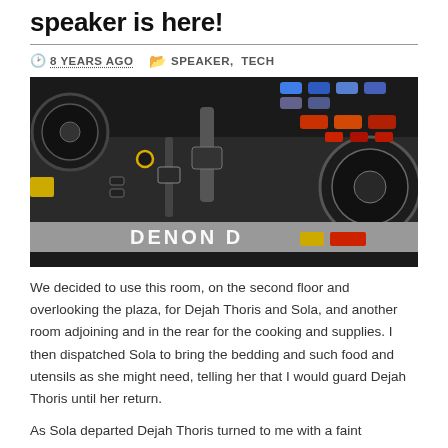speaker is here!
8 YEARS AGO   SPEAKER, TECH
[Figure (photo): Close-up photo of a Denon DJ controller showing knobs, buttons, sliders, and illuminated pads in red, blue, and yellow colors.]
We decided to use this room, on the second floor and overlooking the plaza, for Dejah Thoris and Sola, and another room adjoining and in the rear for the cooking and supplies. I then dispatched Sola to bring the bedding and such food and utensils as she might need, telling her that I would guard Dejah Thoris until her return.
As Sola departed Dejah Thoris turned to me with a faint